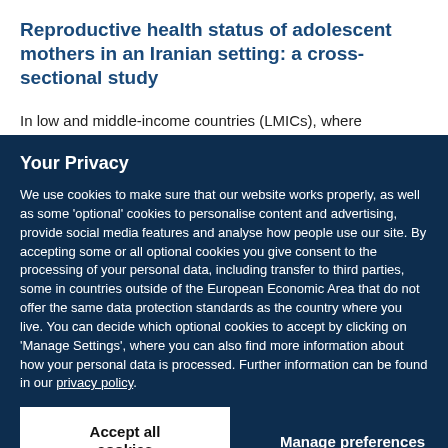Reproductive health status of adolescent mothers in an Iranian setting: a cross-sectional study
In low and middle-income countries (LMICs), where
Your Privacy
We use cookies to make sure that our website works properly, as well as some 'optional' cookies to personalise content and advertising, provide social media features and analyse how people use our site. By accepting some or all optional cookies you give consent to the processing of your personal data, including transfer to third parties, some in countries outside of the European Economic Area that do not offer the same data protection standards as the country where you live. You can decide which optional cookies to accept by clicking on 'Manage Settings', where you can also find more information about how your personal data is processed. Further information can be found in our privacy policy.
Accept all cookies
Manage preferences